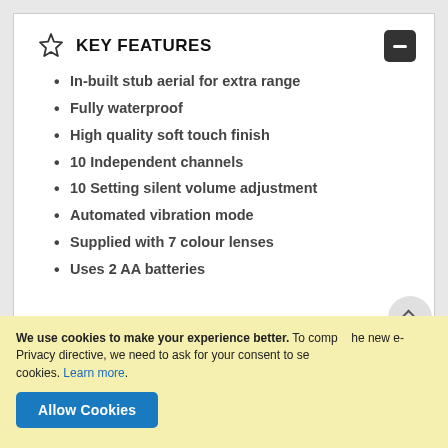KEY FEATURES
In-built stub aerial for extra range
Fully waterproof
High quality soft touch finish
10 Independent channels
10 Setting silent volume adjustment
Automated vibration mode
Supplied with 7 colour lenses
Uses 2 AA batteries
We use cookies to make your experience better. To comply with the new e-Privacy directive, we need to ask for your consent to set the cookies. Learn more.